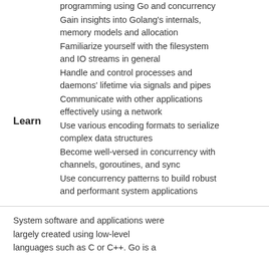programming using Go and concurrency
Gain insights into Golang's internals, memory models and allocation
Familiarize yourself with the filesystem and IO streams in general
Handle and control processes and daemons' lifetime via signals and pipes
Communicate with other applications effectively using a network
Use various encoding formats to serialize complex data structures
Become well-versed in concurrency with channels, goroutines, and sync
Use concurrency patterns to build robust and performant system applications
System software and applications were largely created using low-level languages such as C or C++. Go is a